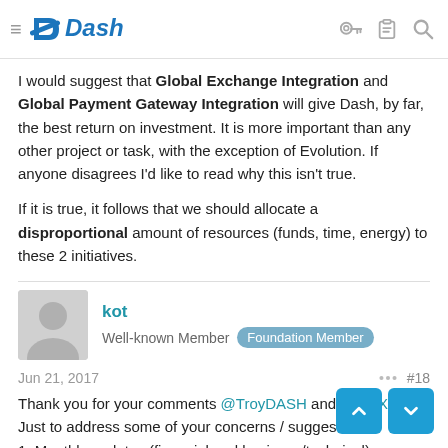Dash
I would suggest that Global Exchange Integration and Global Payment Gateway Integration will give Dash, by far, the best return on investment. It is more important than any other project or task, with the exception of Evolution. If anyone disagrees I'd like to read why this isn't true.

If it is true, it follows that we should allocate a disproportional amount of resources (funds, time, energy) to these 2 initiatives.
kot
Well-known Member Foundation Member
Jun 21, 2017 #18
Thank you for your comments @TroyDASH and @RGXDK ,
Just to address some of your concerns / suggestions:
1. Monthly updates (financial and business/technical) are being published on the forum in this section: